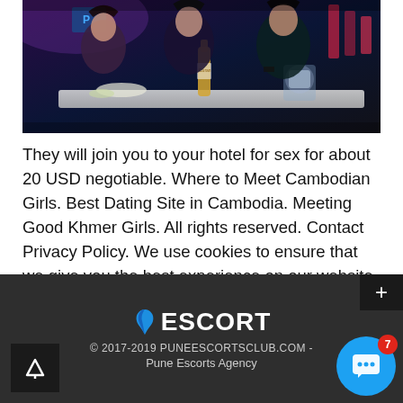[Figure (photo): Nightclub photo showing several women sitting at a table with drinks and food, in a dark venue with purple/blue lighting.]
They will join you to your hotel for sex for about 20 USD negotiable. Where to Meet Cambodian Girls. Best Dating Site in Cambodia. Meeting Good Khmer Girls. All rights reserved. Contact Privacy Policy. We use cookies to ensure that we give you the best experience on our website.
ESCORT © 2017-2019 PUNEESCORTSCLUB.COM - Pune Escorts Agency